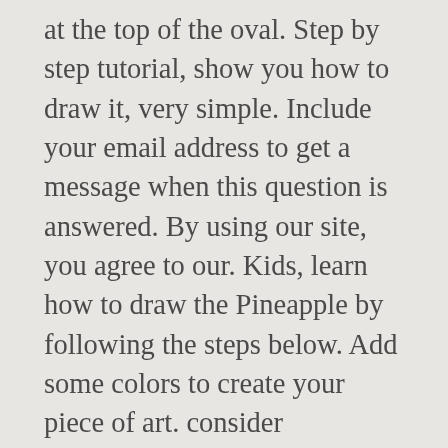at the top of the oval. Step by step tutorial, show you how to draw it, very simple. Include your email address to get a message when this question is answered. By using our site, you agree to our. Kids, learn how to draw the Pineapple by following the steps below. Add some colors to create your piece of art. consider supporting our work with a contribution to wikiHow. Players with level 51 Farming can grow a pineapple plant by planting a pineapple seed in a filled plant pot using a gardening trowel, then watering it with a watering can.After 15 minutes or less, the pineapple seedling will become a pineapple sapling and can then be transferred